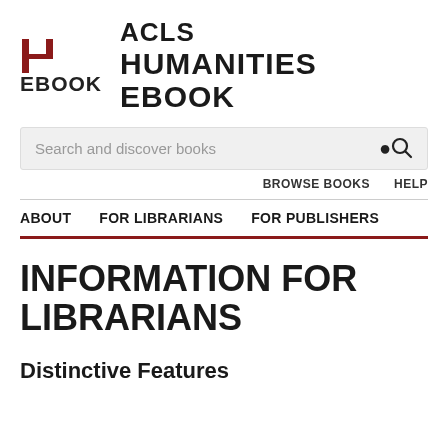[Figure (logo): ACLS Humanities Ebook logo — stylized H lettermark in dark red with 'EBOOK' below, beside text 'ACLS HUMANITIES EBOOK']
Search and discover books
BROWSE BOOKS   HELP
ABOUT   FOR LIBRARIANS   FOR PUBLISHERS
INFORMATION FOR LIBRARIANS
Distinctive Features